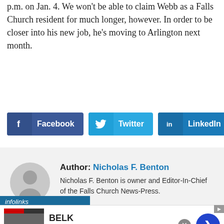p.m. on Jan. 4. We won't be able to claim Webb as a Falls Church resident for much longer, however. In order to be closer into his new job, he's moving to Arlington next month.
[Figure (infographic): Social share buttons: Facebook (dark blue), Twitter (light blue), LinkedIn (dark teal)]
[Figure (infographic): Author box with avatar placeholder and bio for Nicholas F. Benton, owner and Editor-In-Chief of the Falls Church News-Press]
[Figure (infographic): Infolinks advertisement bar with BELK ad showing Denim all day, www.belk.com]